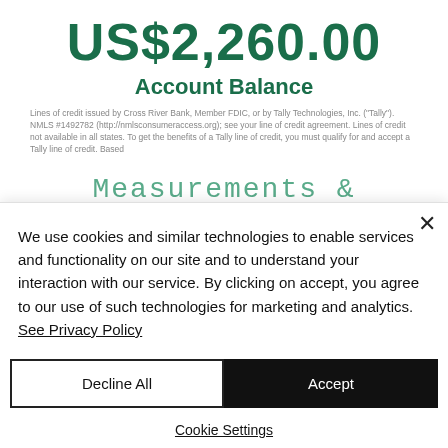US$2,260.00
Account Balance
Lines of credit issued by Cross River Bank, Member FDIC, or by Tally Technologies, Inc. ("Tally"). NMLS #1492782 (http://nmlsconsumeraccess.org); see your line of credit agreement. Lines of credit not available in all states. To get the benefits of a Tally line of credit, you must qualify for and accept a Tally line of credit. Based
Measurements &
We use cookies and similar technologies to enable services and functionality on our site and to understand your interaction with our service. By clicking on accept, you agree to our use of such technologies for marketing and analytics. See Privacy Policy
Decline All
Accept
Cookie Settings